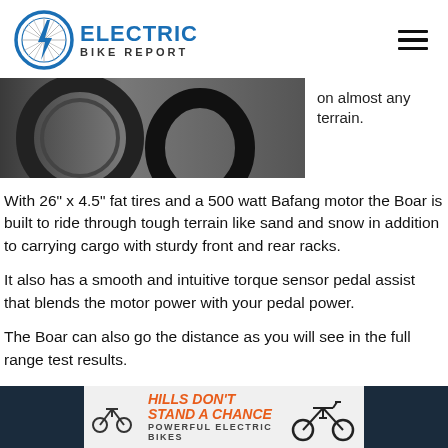ELECTRIC BIKE REPORT
[Figure (photo): Close-up photo of a fat tire electric bike wheel on terrain]
on almost any terrain.
With 26" x 4.5" fat tires and a 500 watt Bafang motor the Boar is built to ride through tough terrain like sand and snow in addition to carrying cargo with sturdy front and rear racks.
It also has a smooth and intuitive torque sensor pedal assist that blends the motor power with your pedal power.
The Boar can also go the distance as you will see in the full range test results.
[Figure (infographic): Advertisement banner: Hills Don't Stand A Chance - Powerful Electric Bikes]